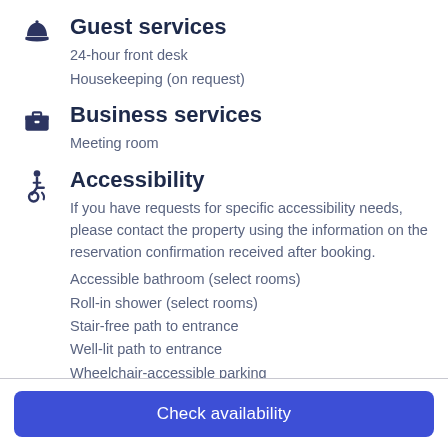Guest services
24-hour front desk
Housekeeping (on request)
Business services
Meeting room
Accessibility
If you have requests for specific accessibility needs, please contact the property using the information on the reservation confirmation received after booking.
Accessible bathroom (select rooms)
Roll-in shower (select rooms)
Stair-free path to entrance
Well-lit path to entrance
Wheelchair-accessible parking
Check availability